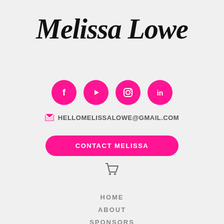Melissa Lowe
[Figure (infographic): Four pink circular social media icons: Facebook, YouTube, Instagram, LinkedIn]
HELLOMELISSALOWE@GMAIL.COM
CONTACT MELISSA
[Figure (other): Shopping cart icon]
HOME
ABOUT
SPONSORS